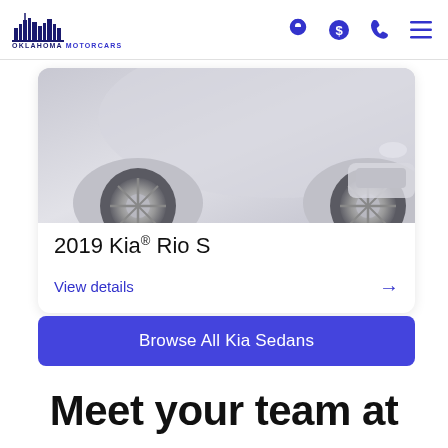Oklahoma Motorcars header with logo, location icon, dollar icon, phone icon, and menu icon
[Figure (photo): Partial front view of a silver/white Kia Rio car, cropped to show wheel area and front bumper]
2019 Kia® Rio S
View details →
Browse All Kia Sedans
Meet your team at Oklahoma Motorcars